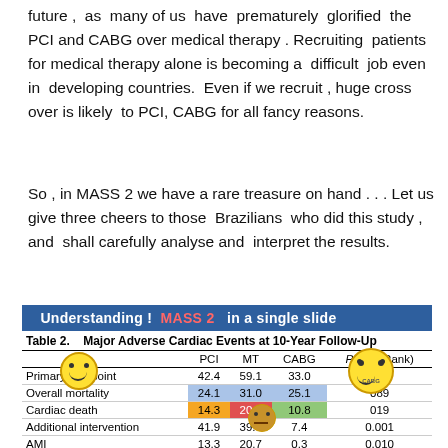future , as many of us have prematurely glorified the PCI and CABG over medical therapy . Recruiting patients for medical therapy alone is becoming a difficult job even in developing countries. Even if we recruit , huge cross over is likely to PCI, CABG for all fancy reasons.
So , in MASS 2 we have a rare treasure on hand . . . Let us give three cheers to those Brazilians who did this study , and shall carefully analyse and interpret the results.
Understanding ! MASS 2 in a single slide
|  | PCI | MT | CABG | P (Log-Rank) |
| --- | --- | --- | --- | --- |
| Primary end point | 42.4 | 59.1 | 33.0 | 001 |
| Overall mortality | 24.1 | 31.0 | 25.1 | 089 |
| Cardiac death | 14.3 | 20.7 | 10.8 | 019 |
| Additional intervention | 41.9 | 39.4 | 7.4 | 0.001 |
| AMI | 13.3 | 20.7 | 0.3 | 0.010 |